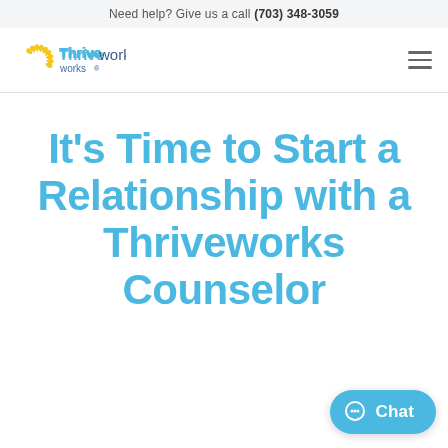Need help? Give us a call (703) 348-3059
[Figure (logo): Thriveworks logo with yellow sunburst and blue text]
It’s Time to Start a Relationship with a Thriveworks Counselor